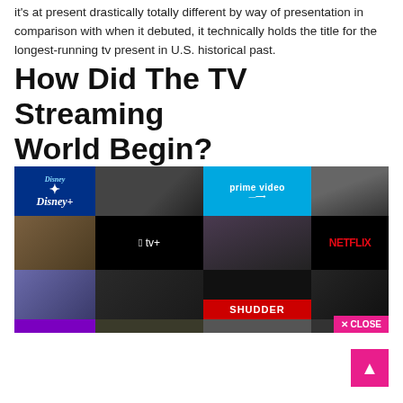it's at present drastically totally different by way of presentation in comparison with when it debuted, it technically holds the title for the longest-running tv present in U.S. historical past.
How Did The TV Streaming World Begin?
[Figure (photo): Streaming service collage showing logos and scenes from Disney+, Prime Video, Apple TV+, Netflix, Shudder, and other streaming platforms with a pink 'X CLOSE' button in the bottom right corner.]
[Figure (other): Pink scroll-to-top arrow button in the bottom right corner of the page.]